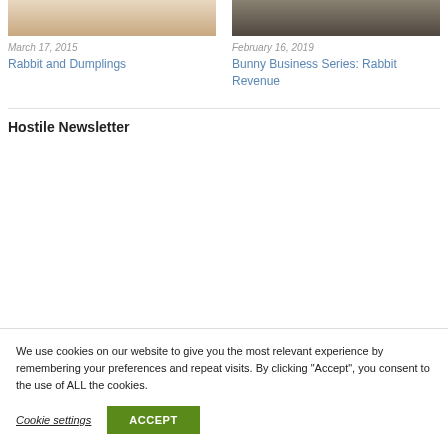[Figure (photo): Partial image of rabbit and dumplings dish (top left column)]
[Figure (photo): Partial image of rabbits (top right column)]
March 17, 2015
Rabbit and Dumplings
February 16, 2019
Bunny Business Series: Rabbit Revenue
Hostile Newsletter
We use cookies on our website to give you the most relevant experience by remembering your preferences and repeat visits. By clicking "Accept", you consent to the use of ALL the cookies.
Cookie settings
ACCEPT